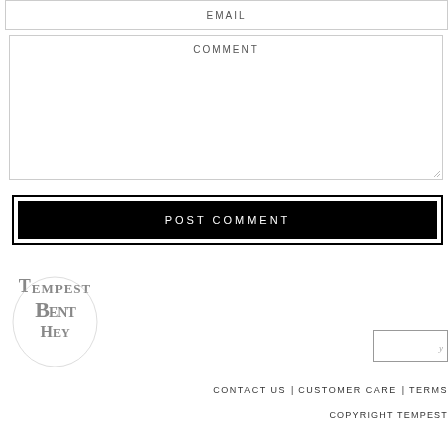EMAIL
COMMENT
POST COMMENT
[Figure (logo): Tempest Bentley decorative script logo with stylized overlapping letters]
CONTACT US | CUSTOMER CARE | TERMS
COPYRIGHT TEMPEST